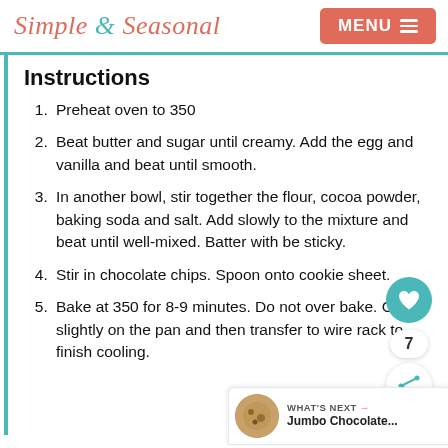Simple & Seasonal | MENU
Instructions
Preheat oven to 350
Beat butter and sugar until creamy. Add the egg and vanilla and beat until smooth.
In another bowl, stir together the flour, cocoa powder, baking soda and salt. Add slowly to the mixture and beat until well-mixed. Batter with be sticky.
Stir in chocolate chips. Spoon onto cookie sheet.
Bake at 350 for 8-9 minutes. Do not over bake. Cool slightly on the pan and then transfer to wire rack to finish cooling.